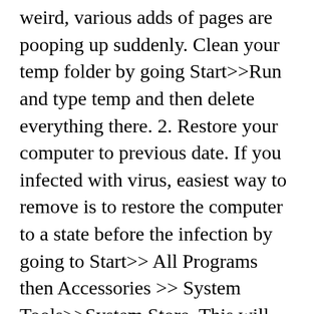weird, various adds of pages are pooping up suddenly. Clean your temp folder by going Start>>Run and type temp and then delete everything there. 2. Restore your computer to previous date. If you infected with virus, easiest way to remove is to restore the computer to a state before the infection by going to Start>> All Programs then Accessories >> System Tools>>System Store. This will remove all newly installed programs after the restore date alone with the virus program, but will not change your